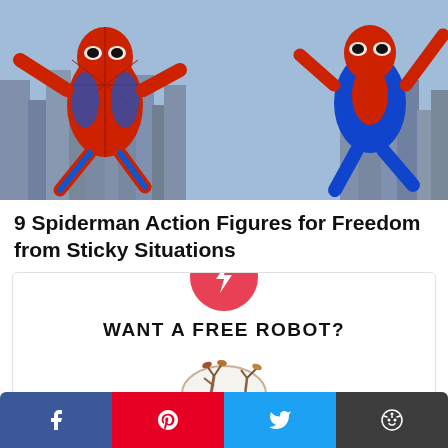[Figure (photo): Two Spider-Man costumed figures in red and blue suits leaping/posed against a city skyline background]
9 Spiderman Action Figures for Freedom from Sticky Situations
[Figure (infographic): Ad card with a red circle lightning bolt icon at top, bold text 'WANT A FREE ROBOT?' and a partial image of a decorative robot/steampunk object at bottom]
Facebook | Pinterest | Twitter | Reddit social share buttons